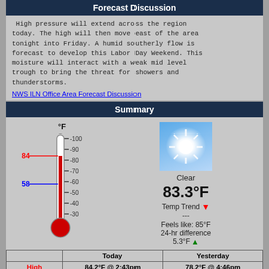Forecast Discussion
High pressure will extend across the region today. The high will then move east of the area tonight into Friday. A humid southerly flow is forecast to develop this Labor Day Weekend. This moisture will interact with a weak mid level trough to bring the threat for showers and thunderstorms.
NWS ILN Office Area Forecast Discussion
Summary
[Figure (infographic): Thermometer showing 84°F high (red) and 58°F low (blue) with scale from 30 to 100°F. Weather condition icon showing clear sunny sky. Current temperature 83.3°F, Temp Trend down arrow, ---, Feels like: 85°F, 24-hr difference 5.3°F up arrow.]
|  | Today | Yesterday |
| --- | --- | --- |
| High | 84.2°F @ 2:43pm | 78.2°F @ 4:46pm |
| Low | 57.5°F @ 7:08am | 56.6°F @ 7:30am |
Records
Record Temperatures This Date